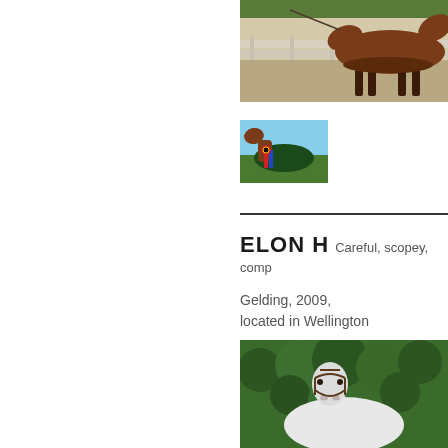[Figure (photo): Bay horse standing in profile view in a sandy arena with white wooden fence behind it, showing hindquarters and legs]
[Figure (photo): Bay horse wearing dark green rug with red and blue ribbon/rosette, standing in a paddock]
ELON H   Careful, scopey, comp
Gelding, 2009,
located in Wellington
[Figure (photo): White/grey horse facing camera in front of green hedge/bushes]